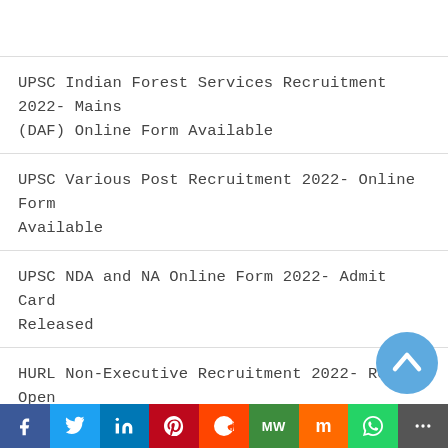UPSC Indian Forest Services Recruitment 2022- Mains (DAF) Online Form Available
UPSC Various Post Recruitment 2022- Online Form Available
UPSC NDA and NA Online Form 2022- Admit Card Released
HURL Non-Executive Recruitment 2022- Re-Open Online Form Available
PSSSB Clerk Recruitment 2022- Last Date Extended